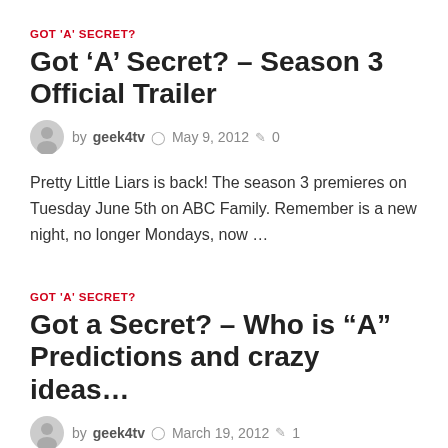GOT 'A' SECRET?
Got ‘A’ Secret? – Season 3 Official Trailer
by geek4tv  May 9, 2012  0
Pretty Little Liars is back! The season 3 premieres on Tuesday June 5th on ABC Family. Remember is a new night, no longer Mondays, now …
GOT 'A' SECRET?
Got a Secret? – Who is “A” Predictions and crazy ideas…
by geek4tv  March 19, 2012  1